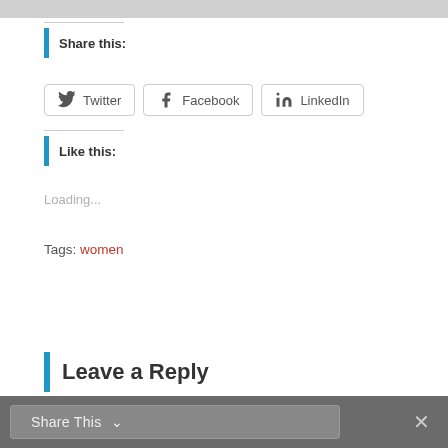Share this:
[Figure (screenshot): Social sharing buttons: Twitter, Facebook, LinkedIn]
Like this:
Loading...
Tags: women
Leave a Reply
Share This  ✕